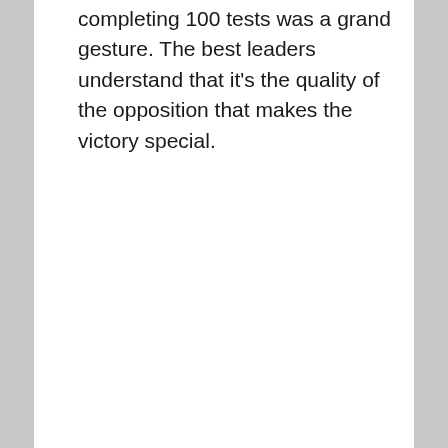completing 100 tests was a grand gesture. The best leaders understand that it's the quality of the opposition that makes the victory special.